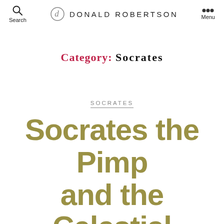Search | DONALD ROBERTSON | Menu
CATEGORY: SOCRATES
SOCRATES
Socrates the Pimp and the Celestial Art of Love